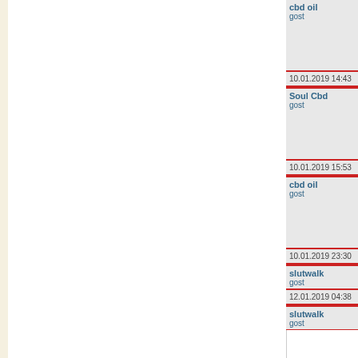cbd oil
gost
10.01.2019 14:43
Soul Cbd
gost
10.01.2019 15:53
cbd oil
gost
10.01.2019 23:30
slutwalk
gost
12.01.2019 04:38
slutwalk
gost